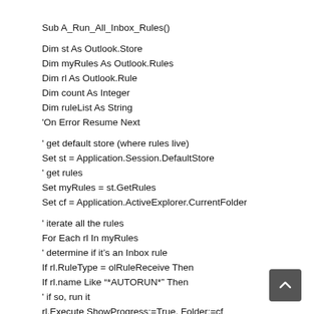Sub A_Run_All_Inbox_Rules()

Dim st As Outlook.Store
Dim myRules As Outlook.Rules
Dim rl As Outlook.Rule
Dim count As Integer
Dim ruleList As String
'On Error Resume Next

' get default store (where rules live)
Set st = Application.Session.DefaultStore
' get rules
Set myRules = st.GetRules
Set cf = Application.ActiveExplorer.CurrentFolder

' iterate all the rules
For Each rl In myRules
' determine if it’s an Inbox rule
If rl.RuleType = olRuleReceive Then
If rl.name Like "*AUTORUN*" Then
' if so, run it
rl.Execute ShowProgress:=True, Folder:=cf
count = count + 1
ruleList = rl.name & vbCrlf & rl.name